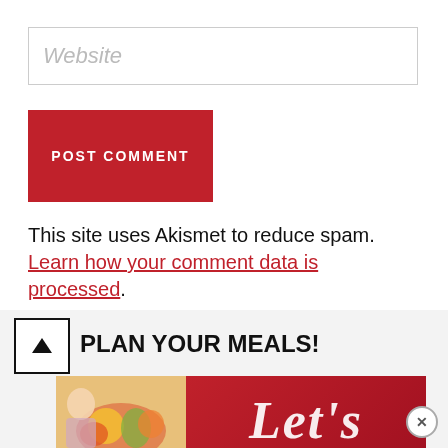Website
POST COMMENT
This site uses Akismet to reduce spam. Learn how your comment data is processed.
PLAN YOUR MEALS!
[Figure (illustration): Promotional banner showing a person planning meals with vegetables on the left side, and the text 'Let's' in large white italic letters on a red background on the right side. A scroll-to-top arrow button is visible on the left.]